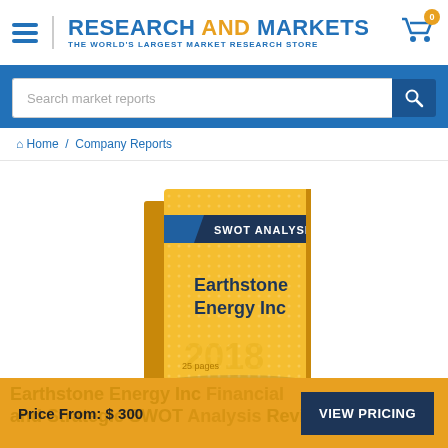RESEARCH AND MARKETS — THE WORLD'S LARGEST MARKET RESEARCH STORE
Search market reports
Home / Company Reports
[Figure (illustration): Book cover for Earthstone Energy Inc SWOT Analysis report, 2018, 25 pages]
Price From: $ 300  VIEW PRICING
Earthstone Energy Inc Financial and Strategic SWOT Analysis Review